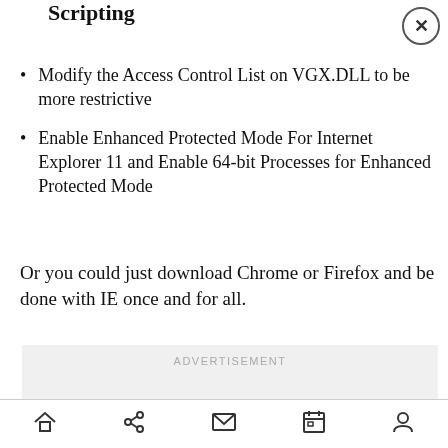Scripting
Modify the Access Control List on VGX.DLL to be more restrictive
Enable Enhanced Protected Mode For Internet Explorer 11 and Enable 64-bit Processes for Enhanced Protected Mode
Or you could just download Chrome or Firefox and be done with IE once and for all.
[Figure (other): Advertisement placeholder box with grey background and 'ADVERTISEMENT' label]
Navigation bar with home, share, mail, calendar, and profile icons